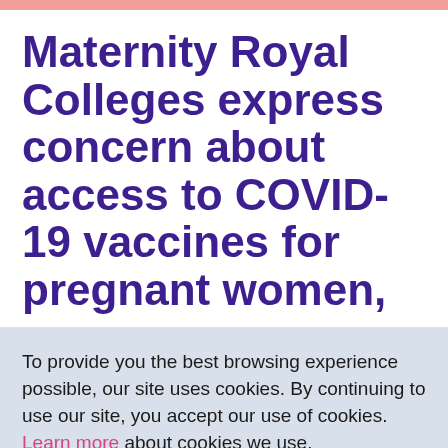Maternity Royal Colleges express concern about access to COVID-19 vaccines for pregnant women,
To provide you the best browsing experience possible, our site uses cookies. By continuing to use our site, you accept our use of cookies. Learn more about cookies we use.
ACCEPT COOKIES